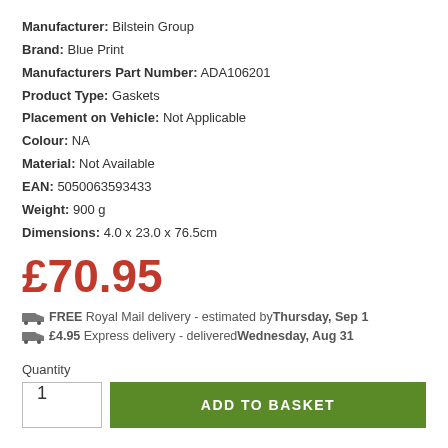Manufacturer: Bilstein Group
Brand: Blue Print
Manufacturers Part Number: ADA106201
Product Type: Gaskets
Placement on Vehicle: Not Applicable
Colour: NA
Material: Not Available
EAN: 5050063593433
Weight: 900 g
Dimensions: 4.0 x 23.0 x 76.5cm
£70.95
FREE Royal Mail delivery - estimated by Thursday, Sep 1
£4.95 Express delivery - delivered Wednesday, Aug 31
Quantity
1
ADD TO BASKET